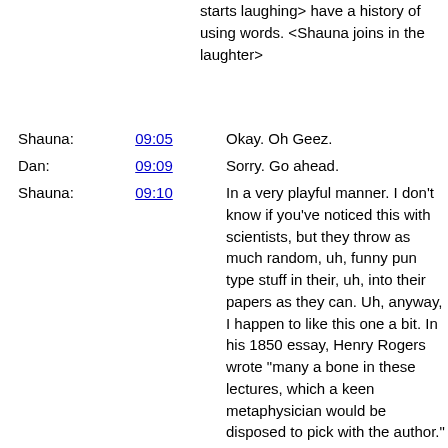starts laughing> have a history of using words. <Shauna joins in the laughter>
Shauna: 09:05 Okay. Oh Geez.
Dan: 09:09 Sorry. Go ahead.
Shauna: 09:10 In a very playful manner. I don't know if you've noticed this with scientists, but they throw as much random, uh, funny pun type stuff in their, uh, into their papers as they can. Uh, anyway, I happen to like this one a bit. In his 1850 essay, Henry Rogers wrote "many a bone in these lectures, which a keen metaphysician would be disposed to pick with the author." In 1884, Henry Rider Haggard in Dawn wrote, "I considered